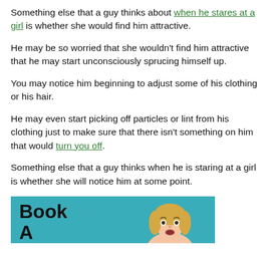Something else that a guy thinks about when he stares at a girl is whether she would find him attractive.
He may be so worried that she wouldn't find him attractive that he may start unconsciously sprucing himself up.
You may notice him beginning to adjust some of his clothing or his hair.
He may even start picking off particles or lint from his clothing just to make sure that there isn't something on him that would turn you off.
Something else that a guy thinks when he is staring at a girl is whether she will notice him at some point.
[Figure (illustration): Book banner with teal background showing 'Book A' text and a woman's face/upper body on the right side]